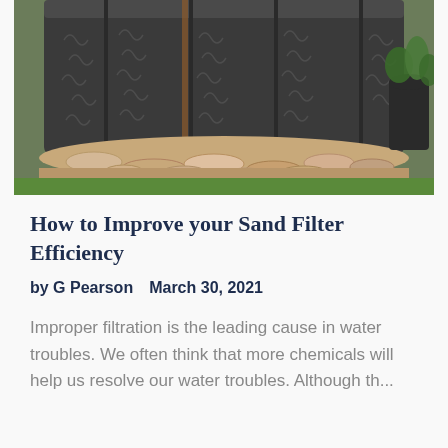[Figure (photo): Above-ground swimming pool with dark metallic exterior and decorative wave pattern, surrounded by flat stones and gravel edging, with green grass and a potted plant visible in the background.]
How to Improve your Sand Filter Efficiency
by G Pearson   March 30, 2021
Improper filtration is the leading cause in water troubles. We often think that more chemicals will help us resolve our water troubles. Although th...